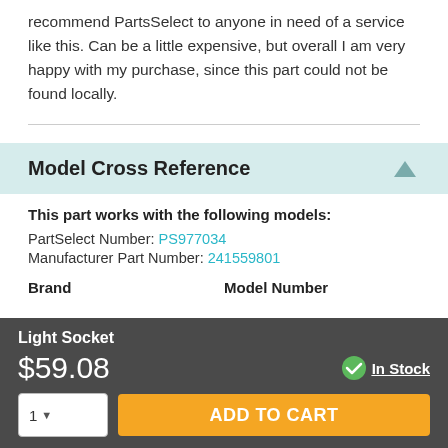recommend PartsSelect to anyone in need of a service like this. Can be a little expensive, but overall I am very happy with my purchase, since this part could not be found locally.
Model Cross Reference
This part works with the following models:
PartSelect Number: PS977034
Manufacturer Part Number: 241559801
Brand   Model Number
Light Socket $59.08 In Stock ADD TO CART